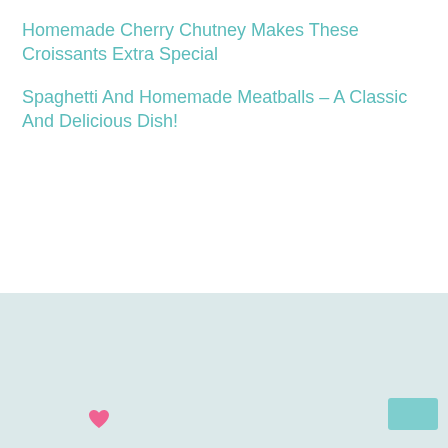Homemade Cherry Chutney Makes These Croissants Extra Special
Spaghetti And Homemade Meatballs – A Classic And Delicious Dish!
[Figure (other): Light teal/seafoam colored banner section at the bottom of the page with a small pink heart icon on the left side and a teal rectangular button on the right side]